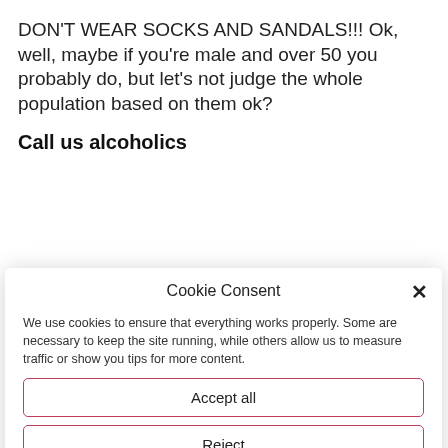DON'T WEAR SOCKS AND SANDALS!!! Ok, well, maybe if you're male and over 50 you probably do, but let's not judge the whole population based on them ok?
Call us alcoholics
Cookie Consent ×
We use cookies to ensure that everything works properly. Some are necessary to keep the site running, while others allow us to measure traffic or show you tips for more content.
Accept all
Reject
Settings
Privacy Statement